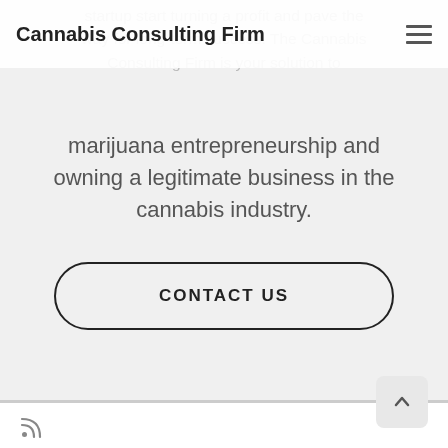Cannabis Consulting Firm
startup start turning a profit and pave the way for long-term success. The Cannabis Consulting Firm is your solution to marijuana entrepreneurship and owning a legitimate business in the cannabis industry.
CONTACT US
[Figure (other): RSS feed icon]
· © 2022 Cannabis Consulting Firm · Powered by · Designed with the Customizr theme ·